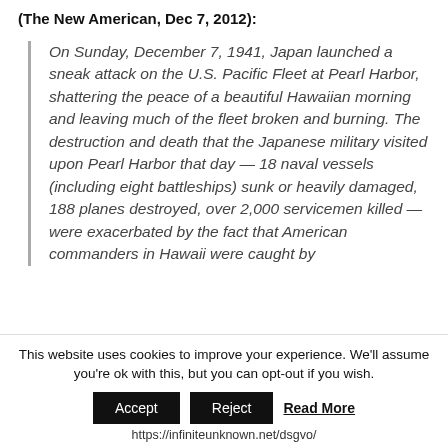(The New American, Dec 7, 2012):
On Sunday, December 7, 1941, Japan launched a sneak attack on the U.S. Pacific Fleet at Pearl Harbor, shattering the peace of a beautiful Hawaiian morning and leaving much of the fleet broken and burning. The destruction and death that the Japanese military visited upon Pearl Harbor that day — 18 naval vessels (including eight battleships) sunk or heavily damaged, 188 planes destroyed, over 2,000 servicemen killed — were exacerbated by the fact that American commanders in Hawaii were caught by
This website uses cookies to improve your experience. We'll assume you're ok with this, but you can opt-out if you wish.
Accept
Reject
Read More
https://infiniteunknown.net/dsgvo/